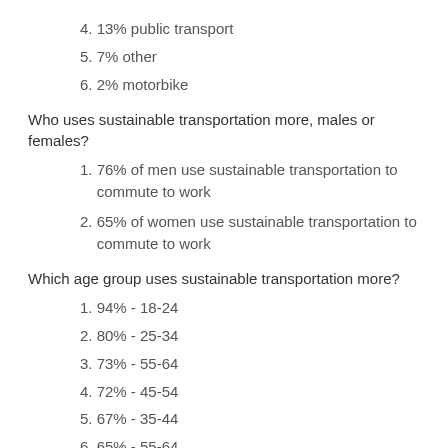4. 13% public transport
5. 7% other
6. 2% motorbike
Who uses sustainable transportation more, males or females?
1. 76% of men use sustainable transportation to commute to work
2. 65% of women use sustainable transportation to commute to work
Which age group uses sustainable transportation more?
1. 94% - 18-24
2. 80% - 25-34
3. 73% - 55-64
4. 72% - 45-54
5. 67% - 35-44
6. 65% - 55-64